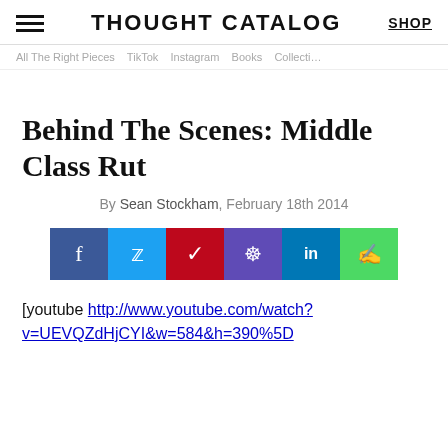THOUGHT CATALOG | SHOP
All The Right Pieces   TikTok   Instagram   Books   Collecti…
Behind The Scenes: Middle Class Rut
By Sean Stockham, February 18th 2014
[Figure (other): Social share buttons: Facebook, Twitter, Pinterest, Reddit, LinkedIn, Message]
[youtube http://www.youtube.com/watch?v=UEVQZdHjCYI&w=584&h=390%5D